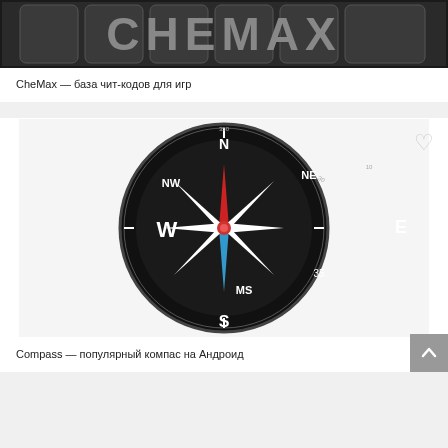[Figure (screenshot): Top portion of CheMax app logo/banner — dark background with large stylized text]
CheMax — база чит-кодов для игр
[Figure (photo): Compass app icon showing a dark circular compass with cardinal directions N, S, E, W, NE, NW, MS, 35 and a star-shaped needle with red, white and blue points]
Compass — популярный компас на Андроид